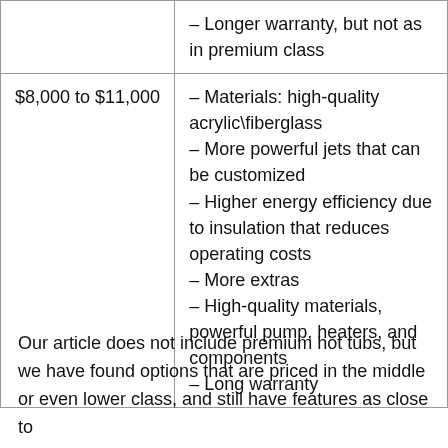|  | – Longer warranty, but not as in premium class |
| $8,000 to $11,000 | – Materials: high-quality acrylic\fiberglass
– More powerful jets that can be customized
– Higher energy efficiency due to insulation that reduces operating costs
– More extras
– High-quality materials, powerful pump, heaters, and components
– Long warranty |
Our article does not include premium hot tubs, but we have found options that are priced in the middle or even lower class, and still have features as close to